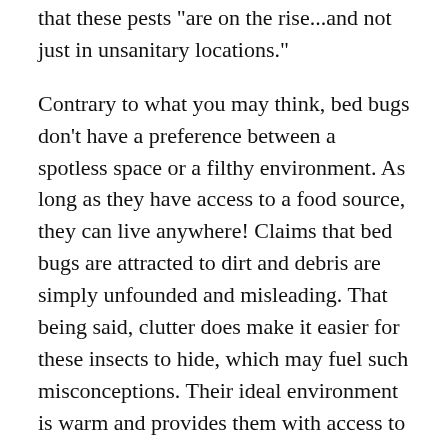that these pests "are on the rise...and not just in unsanitary locations."
Contrary to what you may think, bed bugs don't have a preference between a spotless space or a filthy environment. As long as they have access to a food source, they can live anywhere! Claims that bed bugs are attracted to dirt and debris are simply unfounded and misleading. That being said, clutter does make it easier for these insects to hide, which may fuel such misconceptions. Their ideal environment is warm and provides them with access to a human blood meal.
Given those conditions, you may be wondering how fast bed bugs spread? Let's look at some of their travel habits and what you need to know about how quickly they can make themselves at home.